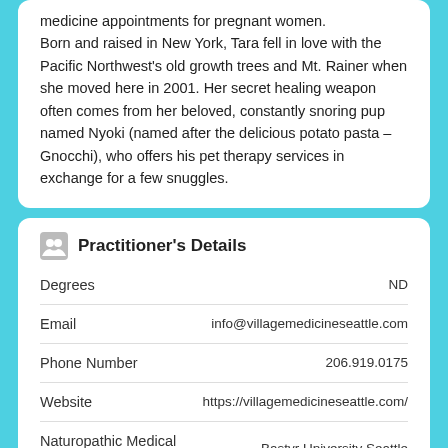medicine appointments for pregnant women. Born and raised in New York, Tara fell in love with the Pacific Northwest's old growth trees and Mt. Rainer when she moved here in 2001. Her secret healing weapon often comes from her beloved, constantly snoring pup named Nyoki (named after the delicious potato pasta – Gnocchi), who offers his pet therapy services in exchange for a few snuggles.
Practitioner's Details
| Field | Value |
| --- | --- |
| Degrees | ND |
| Email | info@villagemedicineseattle.com |
| Phone Number | 206.919.0175 |
| Website | https://villagemedicineseattle.com/ |
| Naturopathic Medical School | Bastyr University Seattle |